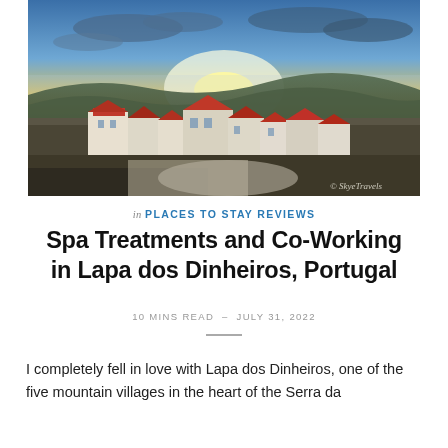[Figure (photo): Aerial/drone photograph of a Portuguese mountain village (Lapa dos Dinheiros) at sunset, showing terracotta-roofed white buildings with dramatic sky and valley behind. Watermark: © SkyeTravels]
in PLACES TO STAY REVIEWS
Spa Treatments and Co-Working in Lapa dos Dinheiros, Portugal
10 MINS READ  –  JULY 31, 2022
I completely fell in love with Lapa dos Dinheiros, one of the five mountain villages in the heart of the Serra da